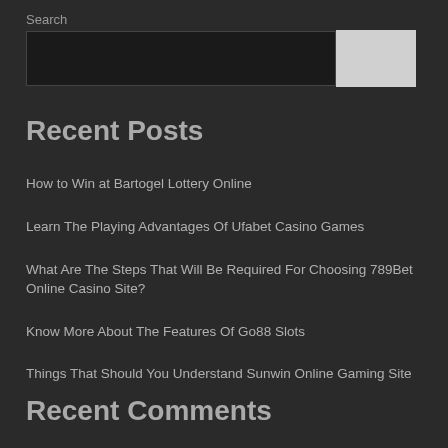Search
Recent Posts
How to Win at Bartogel Lottery Online
Learn The Playing Advantages Of Ufabet Casino Games
What Are The Steps That Will Be Required For Choosing 789Bet Online Casino Site?
Know More About The Features Of Go88 Slots
Things That Should You Understand Sunwin Online Gaming Site
Recent Comments